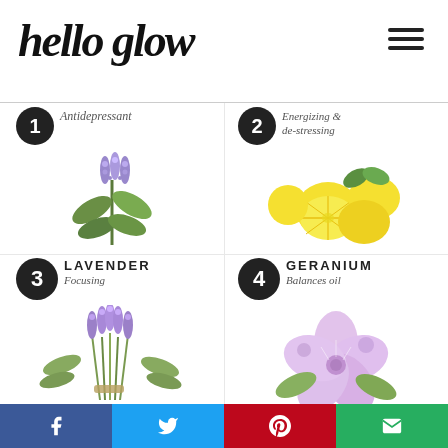hello glow
[Figure (infographic): Infographic showing 4 essential oils for skin: 1 (Clary Sage) Antidepressant, 2 (Lemon) Energizing & de-stressing, 3 (Lavender) Focusing, 4 (Geranium) Balances oil. Each section has a number badge, plant name, property description, and a photo of the plant/fruit.]
Facebook share | Twitter share | Pinterest share | Email share